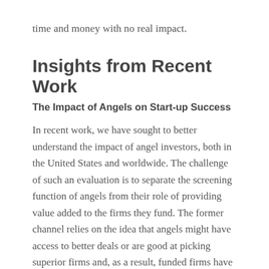support start-up investments, angels only waste their time and money with no real impact.
Insights from Recent Work
The Impact of Angels on Start-up Success
In recent work, we have sought to better understand the impact of angel investors, both in the United States and worldwide. The challenge of such an evaluation is to separate the screening function of angels from their role of providing value added to the firms they fund. The former channel relies on the idea that angels might have access to better deals or are good at picking superior firms and, as a result, funded firms have better outcomes than nonfunded ones. In contrast, the second channel asks whether, above and beyond their ability to pick good deals,